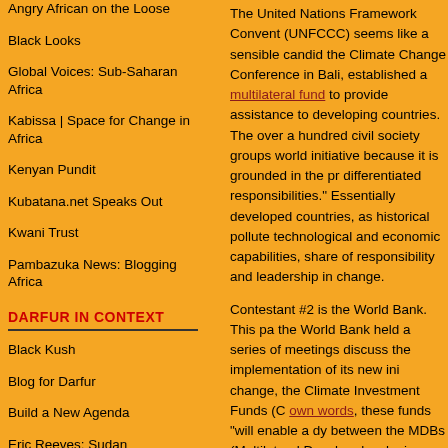Angry African on the Loose
Black Looks
Global Voices: Sub-Saharan Africa
Kabissa | Space for Change in Africa
Kenyan Pundit
Kubatana.net Speaks Out
Kwani Trust
Pambazuka News: Blogging Africa
DARFUR IN CONTEXT
Black Kush
Blog for Darfur
Build a New Agenda
Eric Reeves: Sudan
The United Nations Framework Convention (UNFCCC) seems like a sensible candidate. At the Climate Change Conference in Bali, it established a multilateral fund to provide assistance to developing countries. The over a hundred civil society groups worldwide initiative because it is grounded in the principle of differentiated responsibilities.” Essentially, developed countries, as historical polluters with technological and economic capabilities, must take a share of responsibility and leadership in climate change.
Contestant #2 is the World Bank. This past year the World Bank held a series of meetings to discuss the implementation of its new initiative on climate change, the Climate Investment Funds (CIFs). In its own words, these funds “will enable a dynamic link between the MDBs (Multilateral Development Banks) developing countries to undertake investments that country’s development goals through a transition to resilient economy and a low carbon development path.”
This proposal is under harsh criticism by